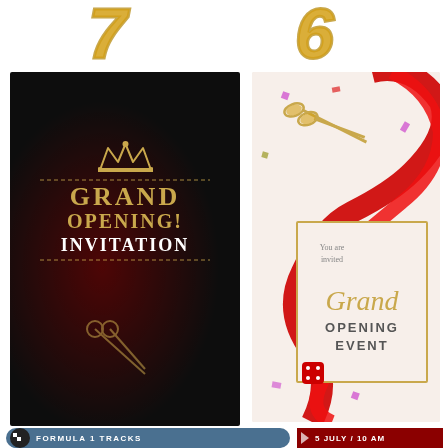[Figure (illustration): Gold glitter numbers '7' and '6' or decorative numerals at the top of the page]
[Figure (illustration): Grand Opening Invitation card with black background, gold crown, red glitter butterfly, and golden scissors. Text: GRAND OPENING! INVITATION]
[Figure (illustration): Grand Opening Event invitation with cream background, gold scissors cutting red ribbon, confetti scattered around, gold bordered frame. Text: You are invited, Grand OPENING EVENT]
[Figure (illustration): Formula 1 Tracks infographic showing circuit outlines for Australian Grand Prix, Spanish Grand Prix, and Silverstone tracks with flag icons]
[Figure (illustration): Grand Opening invitation on dark red background with bunting flags, text: 5 JULY / 10 AM, YOU'RE INVITED, with gold scissors and decorative elements]